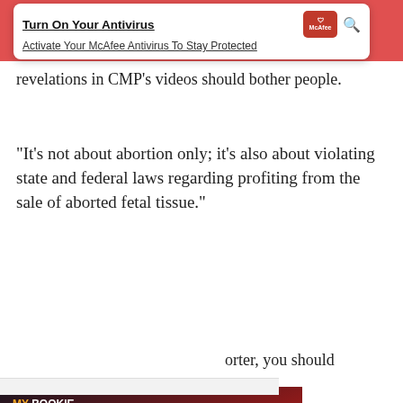[Figure (screenshot): McAfee antivirus banner ad: red background bar, white card overlay with title 'Turn On Your Antivirus', subtitle 'Activate Your McAfee Antivirus To Stay Protected', McAfee logo in red box, search icon.]
revelations in CMP’s videos should bother people.
“It’s not about abortion only; it’s also about violating state and federal laws regarding profiting from the sale of aborted fetal tissue.”
orter, you should
[Figure (screenshot): MyBookie sports betting advertisement showing soccer players and text: MY BOOKIE, DOUBLE YOUR FIRST DEPOSIT. Partially overlaid by a 'Promoted' badge and a video thumbnail with a play button.]